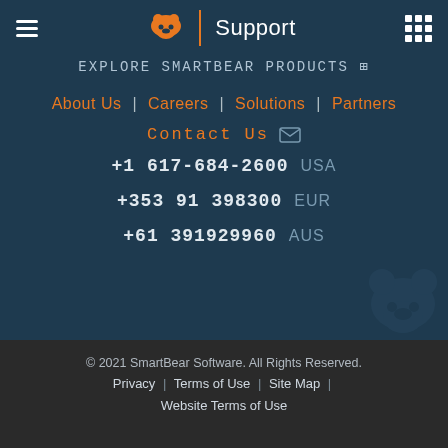SmartBear Support
Explore SmartBear Products
About Us | Careers | Solutions | Partners
Contact Us
+1 617-684-2600 USA
+353 91 398300 EUR
+61 391929960 AUS
© 2021 SmartBear Software. All Rights Reserved. Privacy | Terms of Use | Site Map | Website Terms of Use